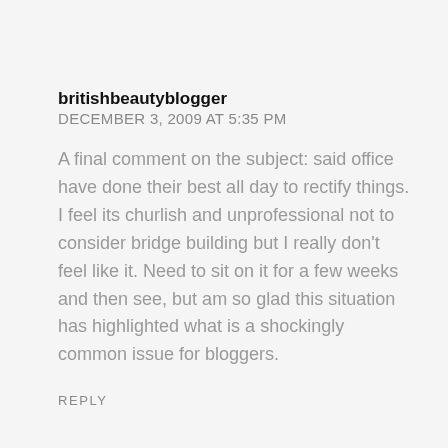britishbeautyblogger
DECEMBER 3, 2009 AT 5:35 PM
A final comment on the subject: said office have done their best all day to rectify things. I feel its churlish and unprofessional not to consider bridge building but I really don't feel like it. Need to sit on it for a few weeks and then see, but am so glad this situation has highlighted what is a shockingly common issue for bloggers.
REPLY